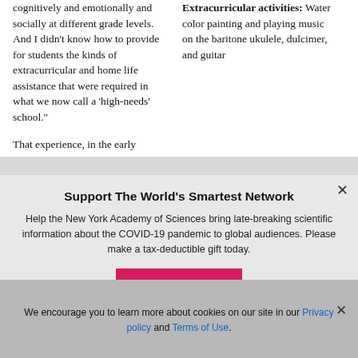cognitively and emotionally and socially at different grade levels. And I didn't know how to provide for students the kinds of extracurricular and home life assistance that were required in what we now call a 'high-needs' school."
That experience, in the early 1970s,
Extracurricular activities: Water color painting and playing music on the baritone ukulele, dulcimer, and guitar
Support The World's Smartest Network
Help the New York Academy of Sciences bring late-breaking scientific information about the COVID-19 pandemic to global audiences. Please make a tax-deductible gift today.
DONATE
We encourage you to learn more about cookies on our site in our Privacy policy and Terms of Use.